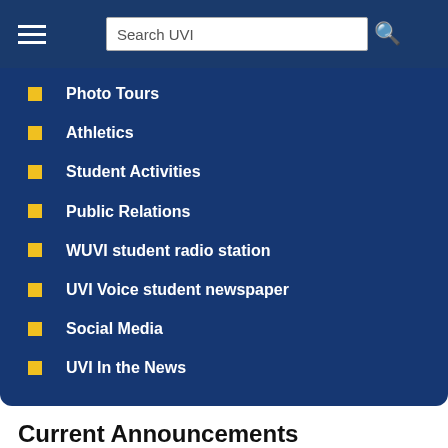Search UVI
Photo Tours
Athletics
Student Activities
Public Relations
WUVI student radio station
UVI Voice student newspaper
Social Media
UVI In the News
Current Announcements
Volunteers Needed for Annual Coastweeks Planned Cleanups Kick-off on September 17
UVI Receives $1M National Science Foundation Award to Support Marine Science Graduate Students and Workforce Positions